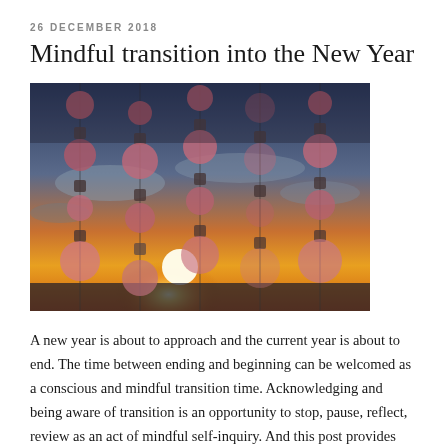26 DECEMBER 2018
Mindful transition into the New Year
[Figure (photo): Hanging decorative shell/bead wind chimes or ornaments photographed against a golden sunset sky with clouds. The ornaments are pink/rose colored circular shells dangling from strings with dark square connectors, backlit dramatically by the setting sun on the horizon.]
A new year is about to approach and the current year is about to end. The time between ending and beginning can be welcomed as a conscious and mindful transition time. Acknowledging and being aware of transition is an opportunity to stop, pause, reflect, review as an act of mindful self-inquiry. And this post provides some